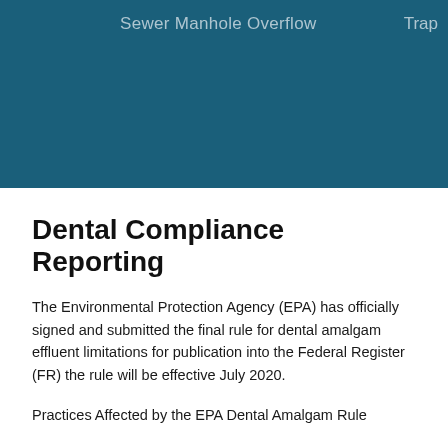Sewer Manhole Overflow   Trap
Dental Compliance Reporting
The Environmental Protection Agency (EPA) has officially signed and submitted the final rule for dental amalgam effluent limitations for publication into the Federal Register (FR) the rule will be effective July 2020.
Practices Affected by the EPA Dental Amalgam Rule